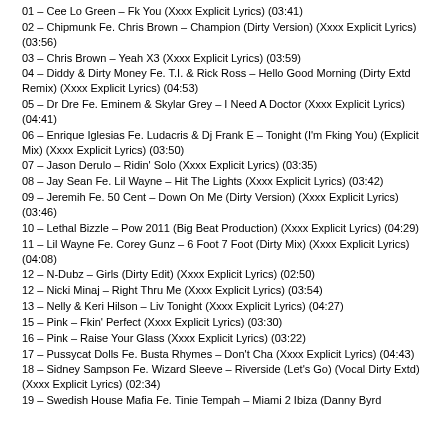01 – Cee Lo Green – Fk You (Xxxx Explicit Lyrics) (03:41)
02 – Chipmunk Fe. Chris Brown – Champion (Dirty Version) (Xxxx Explicit Lyrics) (03:56)
03 – Chris Brown – Yeah X3 (Xxxx Explicit Lyrics) (03:59)
04 – Diddy & Dirty Money Fe. T.I. & Rick Ross – Hello Good Morning (Dirty Extd Remix) (Xxxx Explicit Lyrics) (04:53)
05 – Dr Dre Fe. Eminem & Skylar Grey – I Need A Doctor (Xxxx Explicit Lyrics) (04:41)
06 – Enrique Iglesias Fe. Ludacris & Dj Frank E – Tonight (I'm Fking You) (Explicit Mix) (Xxxx Explicit Lyrics) (03:50)
07 – Jason Derulo – Ridin' Solo (Xxxx Explicit Lyrics) (03:35)
08 – Jay Sean Fe. Lil Wayne – Hit The Lights (Xxxx Explicit Lyrics) (03:42)
09 – Jeremih Fe. 50 Cent – Down On Me (Dirty Version) (Xxxx Explicit Lyrics) (03:46)
10 – Lethal Bizzle – Pow 2011 (Big Beat Production) (Xxxx Explicit Lyrics) (04:29)
11 – Lil Wayne Fe. Corey Gunz – 6 Foot 7 Foot (Dirty Mix) (Xxxx Explicit Lyrics) (04:08)
12 – N-Dubz – Girls (Dirty Edit) (Xxxx Explicit Lyrics) (02:50)
12 – Nicki Minaj – Right Thru Me (Xxxx Explicit Lyrics) (03:54)
13 – Nelly & Keri Hilson – Liv Tonight (Xxxx Explicit Lyrics) (04:27)
15 – Pink – Fkin' Perfect (Xxxx Explicit Lyrics) (03:30)
16 – Pink – Raise Your Glass (Xxxx Explicit Lyrics) (03:22)
17 – Pussycat Dolls Fe. Busta Rhymes – Don't Cha (Xxxx Explicit Lyrics) (04:43)
18 – Sidney Sampson Fe. Wizard Sleeve – Riverside (Let's Go) (Vocal Dirty Extd) (Xxxx Explicit Lyrics) (02:34)
19 – Swedish House Mafia Fe. Tinie Tempah – Miami 2 Ibiza (Danny Byrd